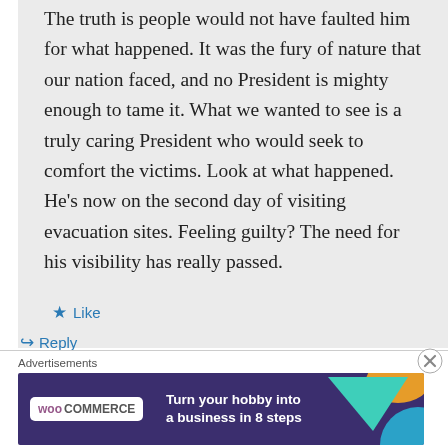The truth is people would not have faulted him for what happened. It was the fury of nature that our nation faced, and no President is mighty enough to tame it. What we wanted to see is a truly caring President who would seek to comfort the victims. Look at what happened. He’s now on the second day of visiting evacuation sites. Feeling guilty? The need for his visibility has really passed.
★ Like
↳ Reply
Advertisements
[Figure (illustration): WooCommerce advertisement banner with purple background, teal and orange geometric shapes, WooCommerce logo, and text 'Turn your hobby into a business in 8 steps']